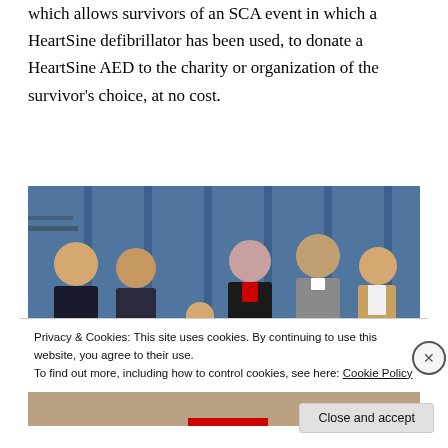which allows survivors of an SCA event in which a HeartSine defibrillator has been used, to donate a HeartSine AED to the charity or organization of the survivor's choice, at no cost.
[Figure (photo): Group photo of five adults and one child standing together in what appears to be a school auditorium or gymnasium. The child is holding a yellow HeartSine AED device. Two of the adults are wearing dark uniform-style clothing, one is a woman in a dark blazer, one is a man in a grey clergy shirt, and one is a young woman in a tan cardigan. A blue curtain is visible in the background.]
Privacy & Cookies: This site uses cookies. By continuing to use this website, you agree to their use.
To find out more, including how to control cookies, see here: Cookie Policy
Close and accept